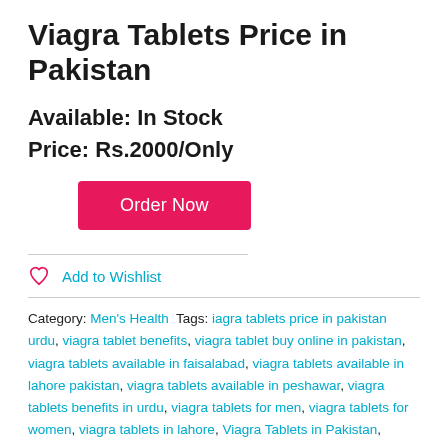Viagra Tablets Price in Pakistan
Available: In Stock
Price: Rs.2000/Only
Order Now
Add to Wishlist
Category: Men's Health  Tags: iagra tablets price in pakistan urdu, viagra tablet benefits, viagra tablet buy online in pakistan, viagra tablets available in faisalabad, viagra tablets available in lahore pakistan, viagra tablets available in peshawar, viagra tablets benefits in urdu, viagra tablets for men, viagra tablets for women, viagra tablets in lahore, Viagra Tablets in Pakistan,